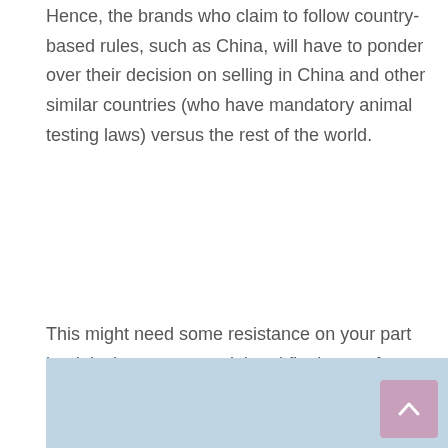Hence, the brands who claim to follow country-based rules, such as China, will have to ponder over their decision on selling in China and other similar countries (who have mandatory animal testing laws) versus the rest of the world.
This might need some resistance on your part but it is the very essential and final step of going cruelty-free. These companies will be forced to change their methods only if their sales drop!
[Figure (other): Light blue footer bar with a pink/mauve scroll-to-top button in the bottom right corner containing an upward chevron arrow.]